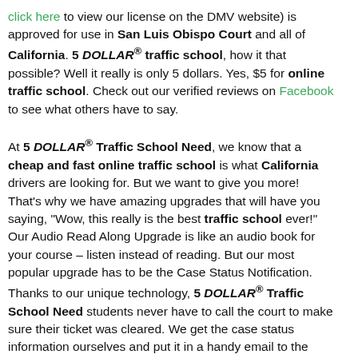click here to view our license on the DMV website) is approved for use in San Luis Obispo Court and all of California. 5 DOLLAR® traffic school, how it that possible? Well it really is only 5 dollars. Yes, $5 for online traffic school. Check out our verified reviews on Facebook to see what others have to say.
At 5 DOLLAR® Traffic School Need, we know that a cheap and fast online traffic school is what California drivers are looking for. But we want to give you more! That's why we have amazing upgrades that will have you saying, "Wow, this really is the best traffic school ever!" Our Audio Read Along Upgrade is like an audio book for your course – listen instead of reading. But our most popular upgrade has to be the Case Status Notification. Thanks to our unique technology, 5 DOLLAR® Traffic School Need students never have to call the court to make sure their ticket was cleared. We get the case status information ourselves and put it in a handy email to the student. Deadline approaching and you're worried you won't be able to complete the 5 DOLLAR® traffic school in time? Well,